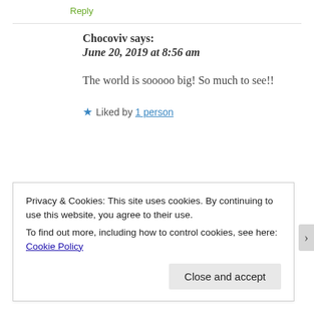Reply
Chocoviv says:
June 20, 2019 at 8:56 am
The world is sooooo big! So much to see!!
★ Liked by 1 person
Privacy & Cookies: This site uses cookies. By continuing to use this website, you agree to their use.
To find out more, including how to control cookies, see here: Cookie Policy
Close and accept